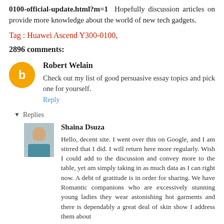0100-official-update.html?m=1 Hopefully discussion articles on provide more knowledge about the world of new tech gadgets.
Tag : Huawei Ascend Y300-0100,
2896 comments:
Robert Welain
Check out my list of good persuasive essay topics and pick one for yourself.
Reply
Replies
Shaina Dsuza
Hello, decent site. I went over this on Google, and I am stirred that I did. I will return here more regularly. Wish I could add to the discussion and convey more to the table, yet am simply taking in as much data as I can right now. A debt of gratitude is in order for sharing. We have Romantic companions who are excessively stunning young ladies they wear astonishing hot garments and there is dependably a great deal of skin show I address them about